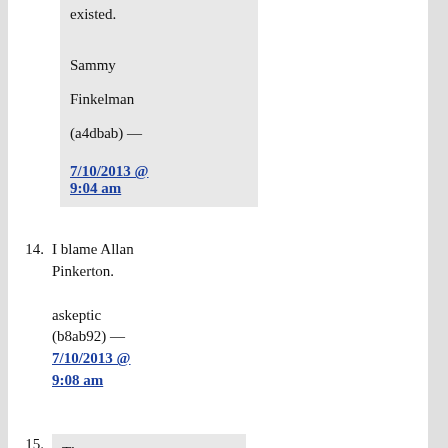existed.
Sammy Finkelman (a4dbab) — 7/10/2013 @ 9:04 am
14. I blame Allan Pinkerton.
askeptic (b8ab92) — 7/10/2013 @ 9:08 am
15. The Pinkertons were not constrained by law.

Oh, wait…
mojo (8096f2)